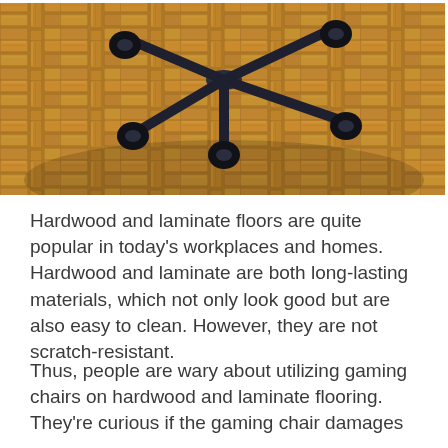[Figure (photo): Photo of an office chair base with black casters/wheels resting on a herringbone-patterned hardwood parquet floor. The wood is golden-brown oak, and the chair base is dark navy/black metal.]
Hardwood and laminate floors are quite popular in today’s workplaces and homes. Hardwood and laminate are both long-lasting materials, which not only look good but are also easy to clean. However, they are not scratch-resistant.
Thus, people are wary about utilizing gaming chairs on hardwood and laminate flooring. They’re curious if the gaming chair damages